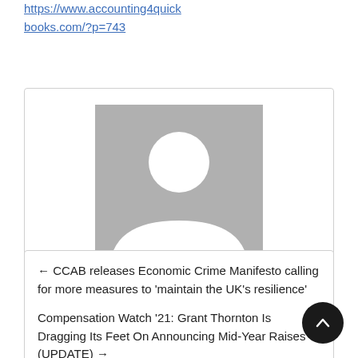https://www.accounting4quickbooks.com/?p=743
[Figure (illustration): Generic user avatar placeholder — grey square with white silhouette of a person (circle head, rounded shoulders)]
Joshua Coleman
← CCAB releases Economic Crime Manifesto calling for more measures to 'maintain the UK's resilience'
Compensation Watch '21: Grant Thornton Is Dragging Its Feet On Announcing Mid-Year Raises (UPDATE) →